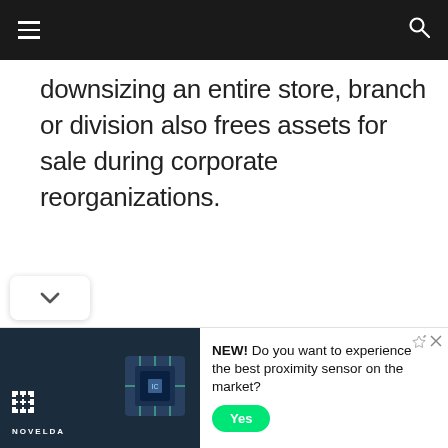Navigation bar with hamburger menu and search icon
downsizing an entire store, branch or division also frees assets for sale during corporate reorganizations.
[Figure (other): Scroll down chevron button]
[Figure (other): Advertisement banner for Novelda proximity sensor with logo, chip image, text 'NEW! Do you want to experience the best proximity sensor on the market?' and a 'Yes' button]